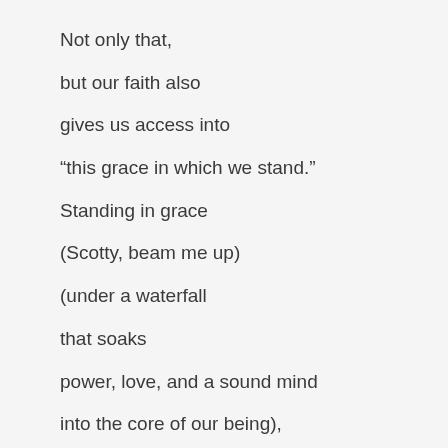Not only that,
but our faith also
gives us access into
“this grace in which we stand.”
Standing in grace
(Scotty, beam me up)
(under a waterfall
that soaks
power, love, and a sound mind
into the core of our being),